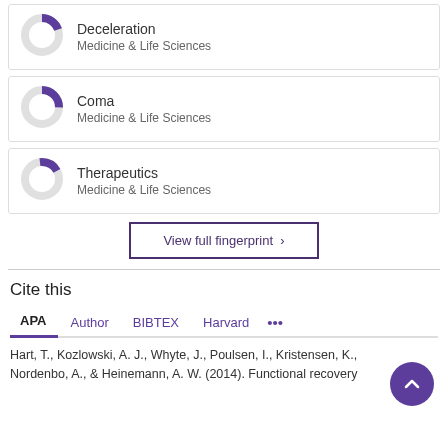[Figure (donut-chart): Donut chart showing partial fill (approx 20%) in purple for Deceleration, Medicine & Life Sciences]
Deceleration
Medicine & Life Sciences
[Figure (donut-chart): Donut chart showing partial fill (approx 25%) in purple for Coma, Medicine & Life Sciences]
Coma
Medicine & Life Sciences
[Figure (donut-chart): Donut chart showing partial fill (approx 18%) in purple for Therapeutics, Medicine & Life Sciences]
Therapeutics
Medicine & Life Sciences
View full fingerprint >
Cite this
APA  Author  BIBTEX  Harvard  ...
Hart, T., Kozlowski, A. J., Whyte, J., Poulsen, I., Kristensen, K., Nordenbo, A., & Heinemann, A. W. (2014). Functional recovery